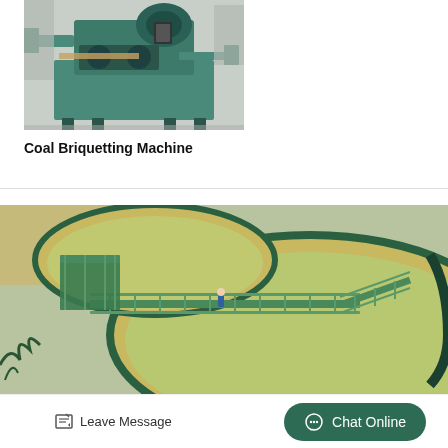[Figure (photo): Coal briquetting machine — a large green industrial press machine in a factory setting]
Coal Briquetting Machine
[Figure (photo): Large circular industrial thickener or clarifier tank with green metal walkway/bridge crossing the top, aerial view showing yellowish liquid inside, at an industrial plant]
Leave Message
Chat Online